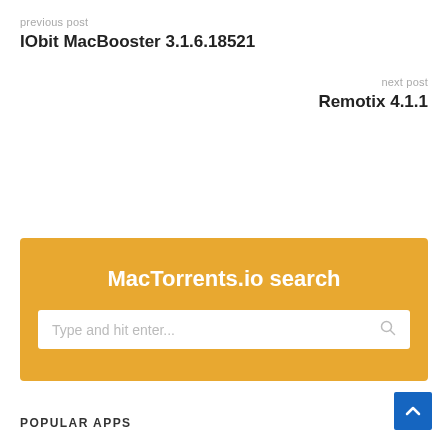previous post
IObit MacBooster 3.1.6.18521
next post
Remotix 4.1.1
MacTorrents.io search
Type and hit enter...
POPULAR APPS